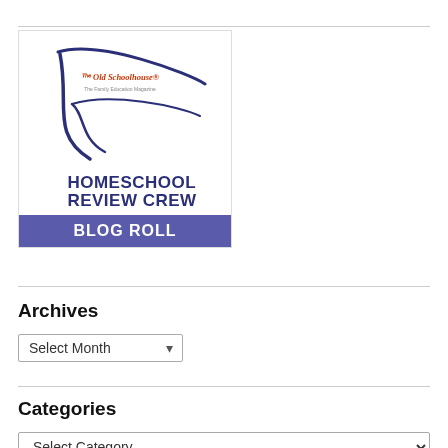[Figure (logo): Homeschool Review Crew Blog Roll logo — white box with dark blue swoosh graphic, 'Old Schoolhouse The Family Education Magazine' text, 'HOMESCHOOL REVIEW CREW' text in dark blue, and 'BLOG ROLL' on a purple banner]
Archives
Select Month (dropdown)
Categories
Select Category (dropdown, partially visible)